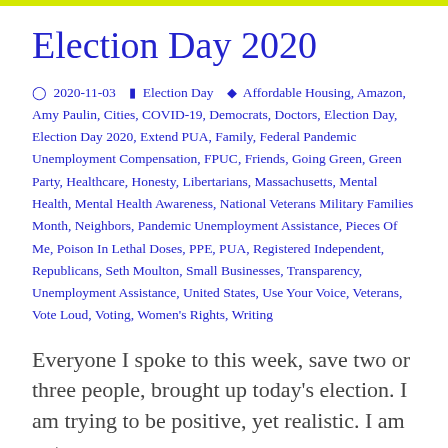Election Day 2020
🕐 2020-11-03  🗂 Election Day  🏷 Affordable Housing, Amazon, Amy Paulin, Cities, COVID-19, Democrats, Doctors, Election Day, Election Day 2020, Extend PUA, Family, Federal Pandemic Unemployment Compensation, FPUC, Friends, Going Green, Green Party, Healthcare, Honesty, Libertarians, Massachusetts, Mental Health, Mental Health Awareness, National Veterans Military Families Month, Neighbors, Pandemic Unemployment Assistance, Pieces Of Me, Poison In Lethal Doses, PPE, PUA, Registered Independent, Republicans, Seth Moulton, Small Businesses, Transparency, Unemployment Assistance, United States, Use Your Voice, Veterans, Vote Loud, Voting, Women's Rights, Writing
Everyone I spoke to this week, save two or three people, brought up today's election. I am trying to be positive, yet realistic. I am not